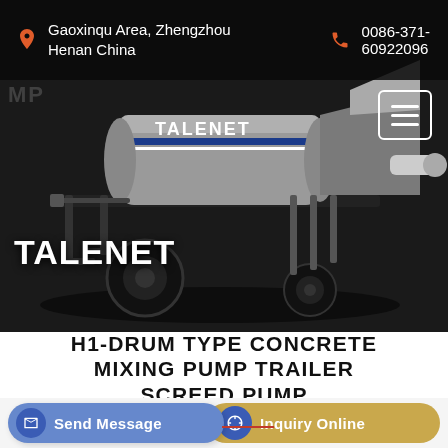Gaoxinqu Area, Zhengzhou Henan China | 0086-371-60922096
[Figure (photo): TALENET branded drum type concrete mixing pump trailer screed pump — a wheeled trailer-mounted machine with gray drum, hopper, and pumping arm, photographed on dark background]
H1-DRUM TYPE CONCRETE MIXING PUMP TRAILER SCREED PUMP
Send Message
Inquiry Online